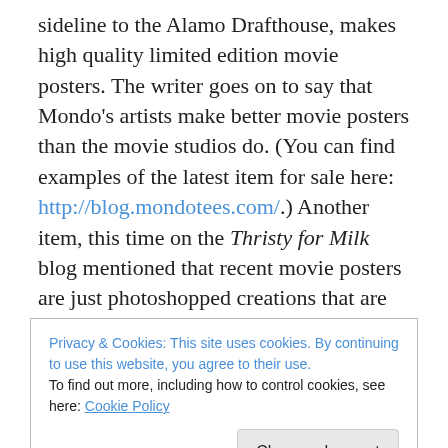sideline to the Alamo Drafthouse, makes high quality limited edition movie posters. The writer goes on to say that Mondo's artists make better movie posters than the movie studios do. (You can find examples of the latest item for sale here: http://blog.mondotees.com/.) Another item, this time on the Thristy for Milk blog mentioned that recent movie posters are just photoshopped creations that are made by committee and don't compare to movie posters of the past.
Yes, many current movie posters are just photoshopped
Privacy & Cookies: This site uses cookies. By continuing to use this website, you agree to their use.
To find out more, including how to control cookies, see here: Cookie Policy
Close and accept
the art department had to bend to what the studio heads